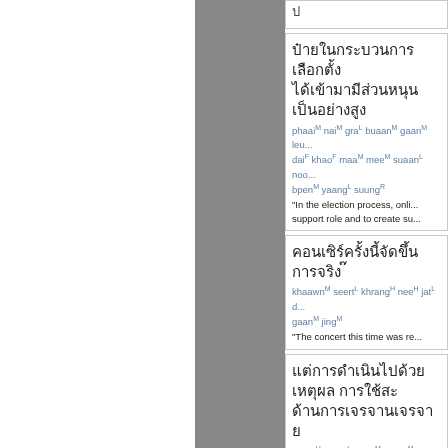Thai text block 1 with romanization: phaaiM naiM graL buaanM gaanM ... daiF khaoF maaM meeM suaanL ... bpenM yaangL suungR
"In the election process, online ... support role and to create su...
Thai text block 2 with romanization: khaawnM seertL khrangH neeH jatL ... gaanM jingM
"The concert this time was re...
Thai text block 3 with romanization: maaeH dtaaeL gaanM deernM duayF thaangM yaangL jeeM pheeM aehtL ... dtaanL gaanM chaiH daanL sat...